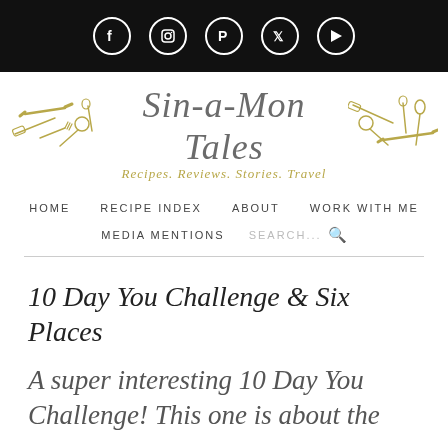Social media icons: Facebook, Instagram, Pinterest, Twitter, YouTube
[Figure (logo): Sin-a-Mon Tales blog logo with illustrated kitchen utensils on both sides and tagline: Recipes. Reviews. Stories. Travel.]
HOME   RECIPE INDEX   ABOUT   WORK WITH ME   MEDIA MENTIONS   SEARCH...
10 Day You Challenge & Six Places
A super interesting 10 Day You Challenge! This one is about the